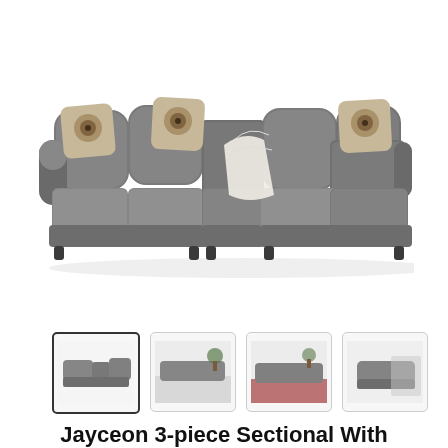[Figure (photo): Large main product image of a gray U-shaped 3-piece sectional sofa with decorative pillows and a white throw blanket, shown on white background]
[Figure (photo): Thumbnail 1 (selected/active): Same gray sectional sofa product image, small version]
[Figure (photo): Thumbnail 2: Gray sectional sofa in a styled room with plants and wall art]
[Figure (photo): Thumbnail 3: Gray sectional sofa in a styled room with a red area rug]
[Figure (photo): Thumbnail 4: Gray sectional sofa angle view, partially visible]
Jayceon 3-piece Sectional With